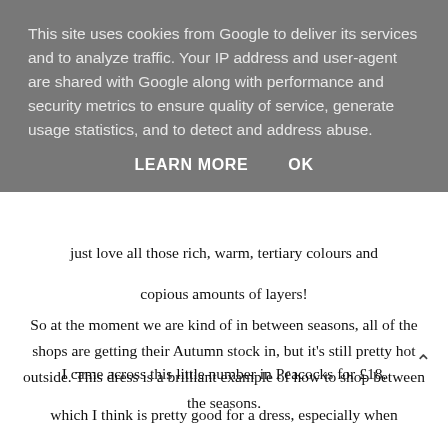This site uses cookies from Google to deliver its services and to analyze traffic. Your IP address and user-agent are shared with Google along with performance and security metrics to ensure quality of service, generate usage statistics, and to detect and address abuse.
LEARN MORE    OK
just love all those rich, warm, tertiary colours and copious amounts of layers!
So at the moment we are kind of in between seasons, all of the shops are getting their Autumn stock in, but it's still pretty hot outside. This dress is a brilliant example of how to shop between the seasons.
I came across this little number in Peacocks for £18, which I think is pretty good for a dress, especially when